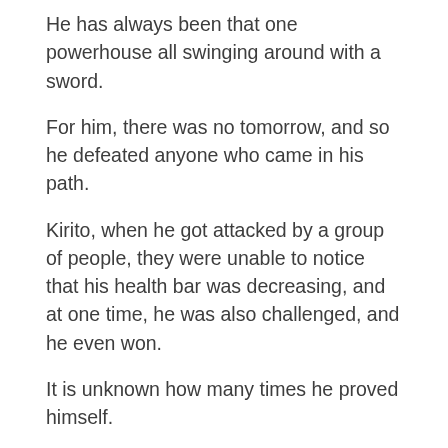He has always been that one powerhouse all swinging around with a sword.
For him, there was no tomorrow, and so he defeated anyone who came in his path.
Kirito, when he got attacked by a group of people, they were unable to notice that his health bar was decreasing, and at one time, he was also challenged, and he even won.
It is unknown how many times he proved himself.
FAQs
[Figure (other): Small FAQ image placeholder with green icon and 'FAQ' label text]
Q.1 Who’s the most OP anime character?